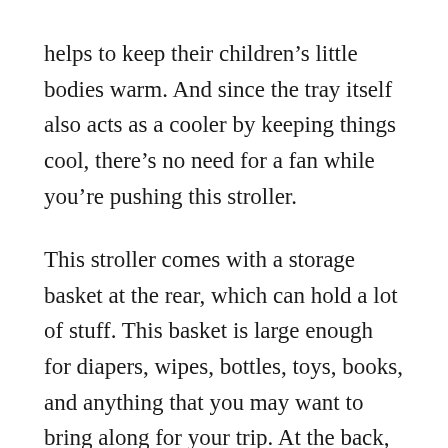helps to keep their children's little bodies warm. And since the tray itself also acts as a cooler by keeping things cool, there's no need for a fan while you're pushing this stroller.

This stroller comes with a storage basket at the rear, which can hold a lot of stuff. This basket is large enough for diapers, wipes, bottles, toys, books, and anything that you may want to bring along for your trip. At the back, there's a canopy so that your little one can get a bit of extra shade, especially during the day. The entire tray folds up easily and compactly,